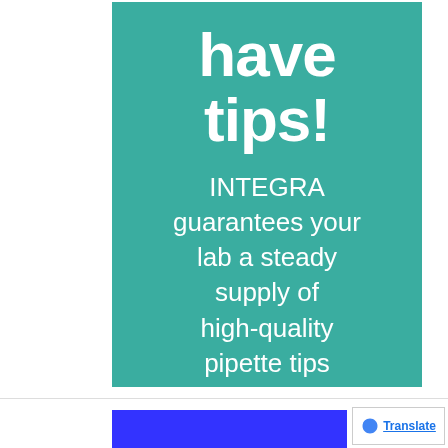[Figure (infographic): Teal/green rectangular banner with white bold text reading 'have tips!' at the top, followed by body text: 'INTEGRA guarantees your lab a steady supply of high-quality pipette tips']
[Figure (screenshot): Blue bar on left and Google Translate badge on right at the bottom of the page]